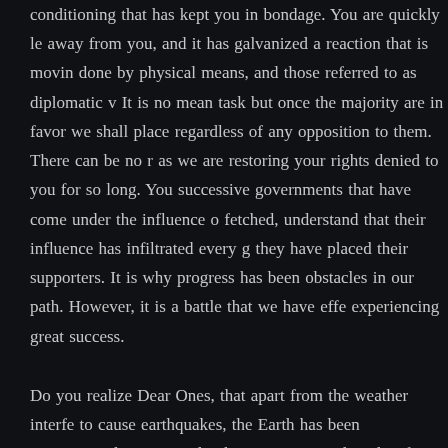conditioning that has kept you in bondage. You are quickly le away from you, and it has galvanized a reaction that is movin done by physical means, and those referred to as diplomatic v It is no mean task but once the majority are in favor we shall place regardless of any opposition to them. There can be no r as we are restoring your rights denied to you for so long. You successive governments that have come under the influence o fetched, understand that their influence has infiltrated every g they have placed their supporters. It is why progress has been obstacles in our path. However, it is a battle that we have effe experiencing great success.
Do you realize Dear Ones, that apart from the weather interfe to cause earthquakes, the Earth has been comparatively quiet predict has not transpired, and in fact all such matters are in c we must allow Mother Earth to carry out her own cleansing. T will lead to complete and utter collapse. The cycle of darknes